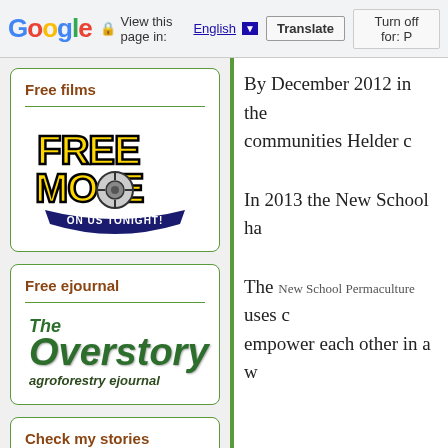Google  View this page in: English [▼]  Translate  Turn off for: P
Free films
[Figure (logo): Free Movie On Us Tonight logo — bold yellow and black text with a film reel graphic]
Free ejournal
[Figure (logo): The Overstory agroforestry ejournal logo in green italic text]
Check my stories
By December 2012 in the communities Helder c
In 2013 the New School ha
The New School Permaculture uses c empower each other in a w